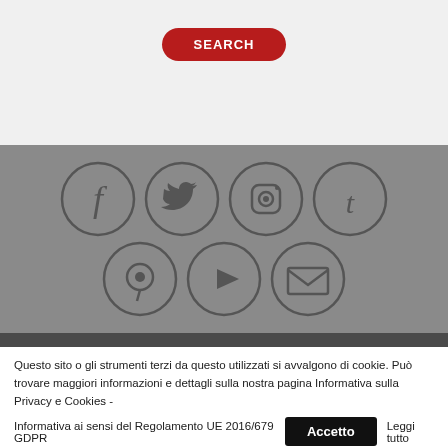[Figure (screenshot): Red rounded SEARCH button on light grey background]
[Figure (infographic): Social media icon circles on grey background: Facebook, Twitter, Instagram, Tumblr (top row); Pinterest, YouTube, Email (bottom row)]
Questo sito o gli strumenti terzi da questo utilizzati si avvalgono di cookie. Può trovare maggiori informazioni e dettagli sulla nostra pagina Informativa sulla Privacy e Cookies - Informativa ai sensi del Regolamento UE 2016/679 GDPR
Accetto
Leggi tutto